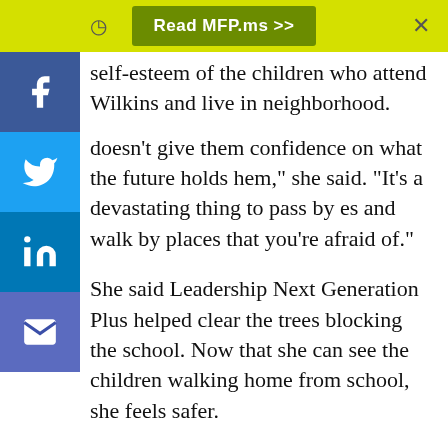Read MFP.ms >>
self-esteem of the children who attend Wilkins and live in neighborhood.
doesn't give them confidence on what the future holds hem," she said. "It's a devastating thing to pass by es and walk by places that you're afraid of."
She said Leadership Next Generation Plus helped clear the trees blocking the school. Now that she can see the children walking home from school, she feels safer.
With the addition of the mural, she hopes it will get people's attention.
"It's beautiful," Robinson said. "I hope it will remind them